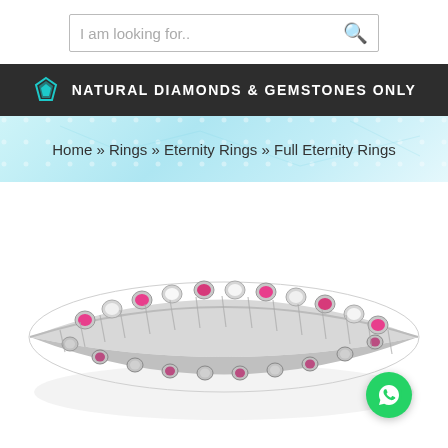[Figure (screenshot): Search bar with placeholder text 'I am looking for..' and a search icon on the right]
[Figure (infographic): Dark banner with teal diamond icon and text 'NATURAL DIAMONDS & GEMSTONES ONLY']
Home » Rings » Eternity Rings » Full Eternity Rings
[Figure (photo): Close-up photo of a silver eternity ring with alternating pink and clear gemstones set in bezel settings, with a WhatsApp contact button overlay]